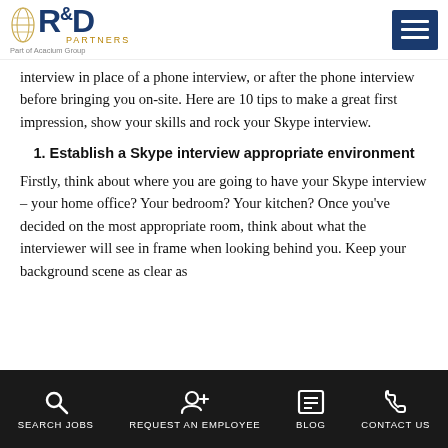R&D Partners | Part of Acacium Group
interview in place of a phone interview, or after the phone interview before bringing you on-site. Here are 10 tips to make a great first impression, show your skills and rock your Skype interview.
1. Establish a Skype interview appropriate environment
Firstly, think about where you are going to have your Skype interview – your home office? Your bedroom? Your kitchen? Once you've decided on the most appropriate room, think about what the interviewer will see in frame when looking behind you. Keep your background scene as clear as
SEARCH JOBS | REQUEST AN EMPLOYEE | BLOG | CONTACT US